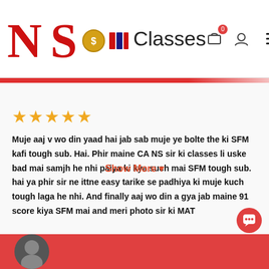[Figure (logo): NS Classes logo with red NS letters and coin/money graphic]
Muje aaj v wo din yaad hai jab sab muje ye bolte the ki SFM kafi tough sub. Hai. Phir maine CA NS sir ki classes li uske bad mai samjh he nhi paiya ki kya such mai SFM tough sub. hai ya phir sir ne ittne easy tarike se padhiya ki muje kuch tough laga he nhi. And finally aaj wo din a gya jab maine 91 score kiya SFM mai and meri photo sir ki MAT
Show More ▾